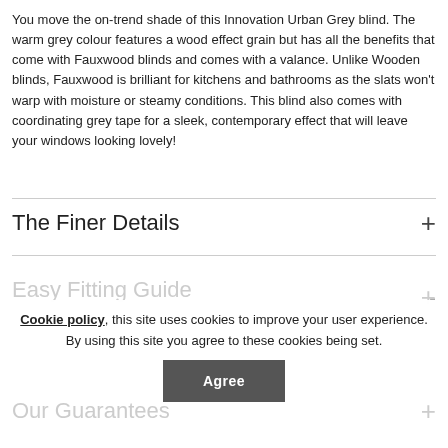You move the on-trend shade of this Innovation Urban Grey blind. The warm grey colour features a wood effect grain but has all the benefits that come with Fauxwood blinds and comes with a valance. Unlike Wooden blinds, Fauxwood is brilliant for kitchens and bathrooms as the slats won't warp with moisture or steamy conditions. This blind also comes with coordinating grey tape for a sleek, contemporary effect that will leave your windows looking lovely!
The Finer Details
Easy Fitting Guide
Cookie policy, this site uses cookies to improve your user experience. By using this site you agree to these cookies being set.
Our Guarantees